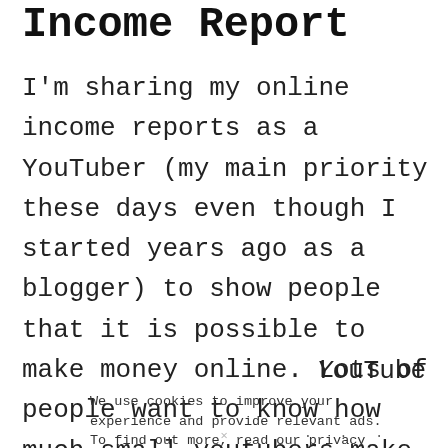Income Report
I'm sharing my online income reports as a YouTuber (my main priority these days even though I started years ago as a blogger) to show people that it is possible to make money online. Lots of people want to know how much small youtubers make and if you
YouTube
We use cookies to improve your experience and provide relevant ads. To find out more, read our privacy
. .  .